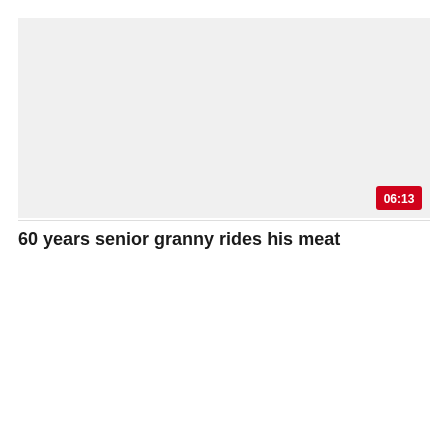[Figure (screenshot): Video thumbnail placeholder — light gray rectangle with a red duration badge showing 06:13 in the bottom-right corner]
60 years senior granny rides his meat